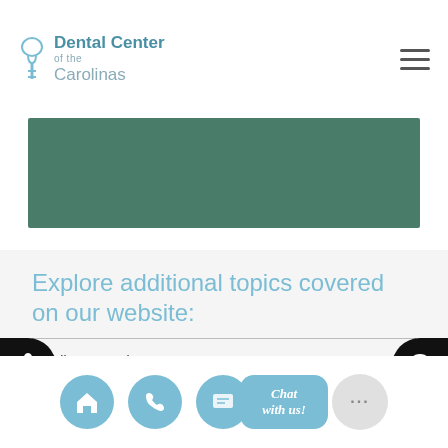Dental Center of the Carolinas
[Figure (other): Green banner/hero image area]
Explore additional topics covered on our website:
All-on-4 Implants
Multiple Teeth Replacement Options
The Difference Between Dental Implants and Mini Dental Implants
[Figure (screenshot): Bottom navigation bar with home, phone, chat with us buttons and accessibility/globe side icons]